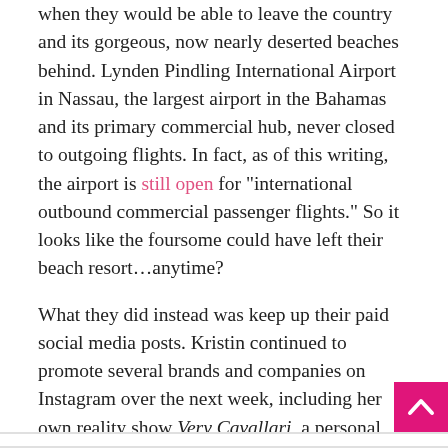when they would be able to leave the country and its gorgeous, now nearly deserted beaches behind. Lynden Pindling International Airport in Nassau, the largest airport in the Bahamas and its primary commercial hub, never closed to outgoing flights. In fact, as of this writing, the airport is still open for "international outbound commercial passenger flights." So it looks like the foursome could have left their beach resort…anytime?
What they did instead was keep up their paid social media posts. Kristin continued to promote several brands and companies on Instagram over the next week, including her own reality show Very Cavallari, a personal trainer / workout routine, Kristin's partnership with a new media promoter, and her and Justin's fashion brand Uncommon James. Justin did the same.